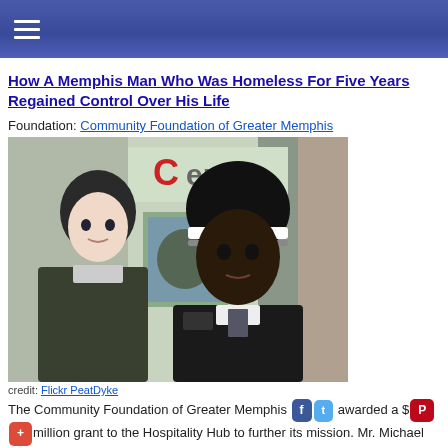≡ (hamburger menu)
How A Memphis Man Who Was Homeless For Five Years Regained Control Over His Life
Foundation: Community Foundation of Greater Memphis
[Figure (photo): Two people standing on a street in front of a store. One is a younger white male wearing a dark jacket and beanie, the other is a Black male in a North Face jacket and striped beanie. Store sign reads 'Center' in background.]
credit: Flickr PeatDyke
The Community Foundation of Greater Memphis has awarded a $1 million grant to the Hospitality Hub to further its mission. Mr. Michael Turner Sr. had been homeless for five years before receiving assistance.